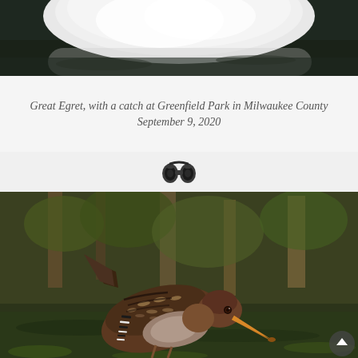[Figure (photo): Bottom portion of a Great Egret photo showing white feathers, cropped at the bottom of a bird photograph, dark water background]
Great Egret, with a catch at Greenfield Park in Milwaukee County
September 9, 2020
[Figure (photo): Small binoculars icon/emoji centered on a light grey divider strip]
[Figure (photo): A small brown speckled bird (likely a rail or wren) crouching near water with a reflective green and brown marsh background. The bird has brown and black streaked plumage, barred flanks, and an orange-tipped bill, photographed from the side looking downward.]